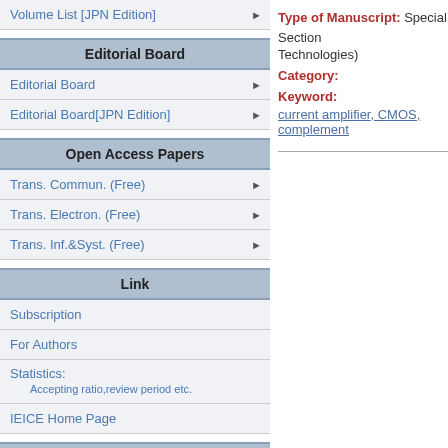Volume List [JPN Edition]
Editorial Board
Editorial Board
Editorial Board[JPN Edition]
Open Access Papers
Trans. Commun. (Free)
Trans. Electron. (Free)
Trans. Inf.&Syst. (Free)
Link
Subscription
For Authors
Statistics:
Accepting ratio,review period etc.
IEICE Home Page
Others
Citation Index
Type of Manuscript: Special Section Technologies)
Category:
Keyword:
current amplifier, CMOS, complement